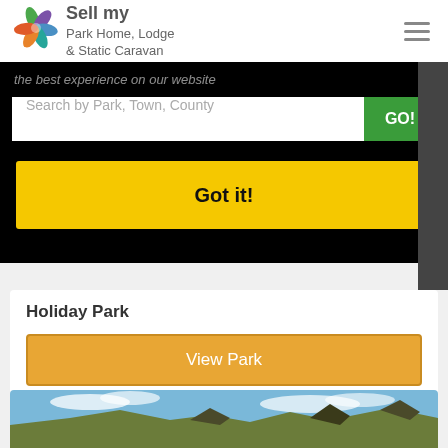[Figure (logo): Sell my Park Home, Lodge & Static Caravan logo with colorful flower icon]
the best experience on our website
Search by Park, Town, County
GO!
Got it!
Holiday Park
View Park
[Figure (photo): Coastal cliff landscape with green hills, rocky outcrops, and blue sky with clouds]